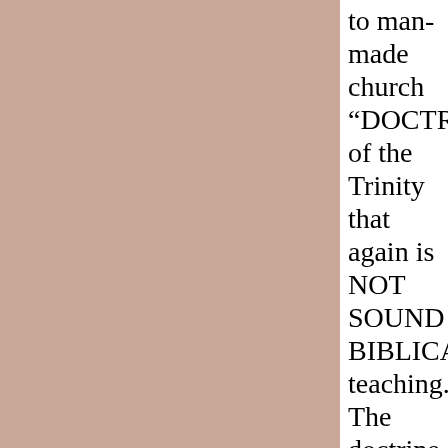[Figure (other): Large dusty rose/mauve colored rectangular panel occupying the left two-thirds of the page]
to man-made church “DOCTRINE of the Trinity that again is NOT SOUND BIBLICAL teaching. The doctrine of the Trinity CONTRADICTS